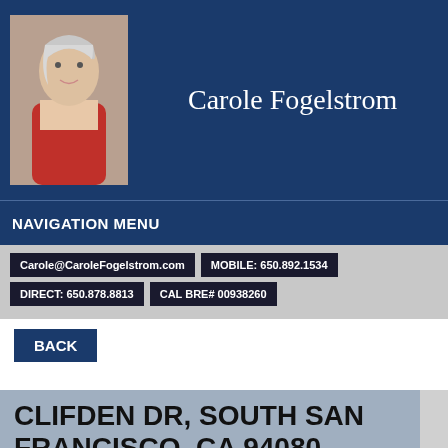Carole Fogelstrom
NAVIGATION MENU
Carole@CaroleFogelstrom.com   MOBILE: 650.892.1534   DIRECT: 650.878.8813   CAL BRE# 00938260
BACK
CLIFDEN DR, SOUTH SAN FRANCISCO, CA 94080
$455,000 - Sold
Mortgage payment: $1,954/mo.
Bedrooms: 3   Bathrooms: 1 Full